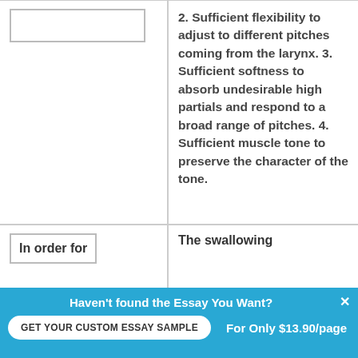2. Sufficient flexibility to adjust to different pitches coming from the larynx. 3. Sufficient softness to absorb undesirable high partials and respond to a broad range of pitches. 4. Sufficient muscle tone to preserve the character of the tone.
In order for
The swallowing
Haven't found the Essay You Want?
GET YOUR CUSTOM ESSAY SAMPLE
For Only $13.90/page